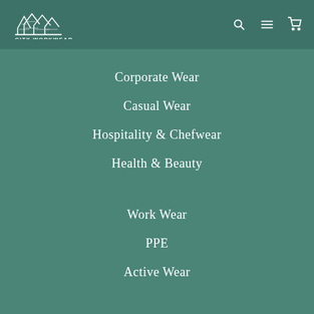[Figure (logo): City Workwear logo with Sydney Opera House silhouette and text CITY WORKWEAR]
Corporate Wear
Casual Wear
Hospitality & Chefwear
Health & Beauty
Work Wear
PPE
Active Wear
Mon-Fri 9:00AM TO 3:00PM (AWST)
E-mail: info@cityworkwear.com.au